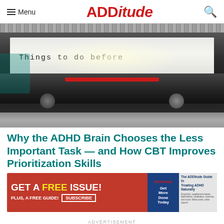Menu | ADDitude
[Figure (photo): Close-up of an old typewriter with a paper reading 'Things to do before']
Why the ADHD Brain Chooses the Less Important Task — and How CBT Improves Prioritization Skills
[Figure (infographic): Advertisement banner: GET A FREE ISSUE! PLUS, A FREE GUIDE! SUBSCRIBE — ADDitude magazine covers shown]
ADVERTISEMENT